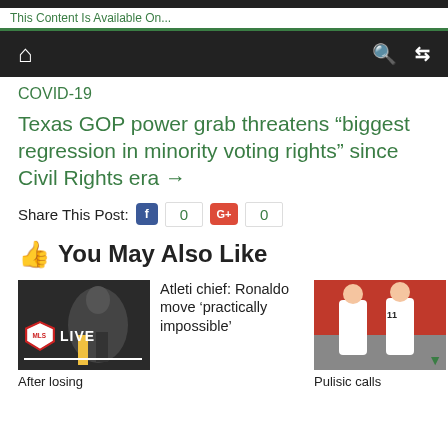This Content Is Available On...
Home | Search | Shuffle
COVID-19
Texas GOP power grab threatens “biggest regression in minority voting rights” since Civil Rights era →
Share This Post: 0 0
You May Also Like
[Figure (photo): MLS soccer player with LIVE badge overlay]
After losing
Atleti chief: Ronaldo move ‘practically impossible’
[Figure (photo): Soccer players in white jerseys]
Pulisic calls